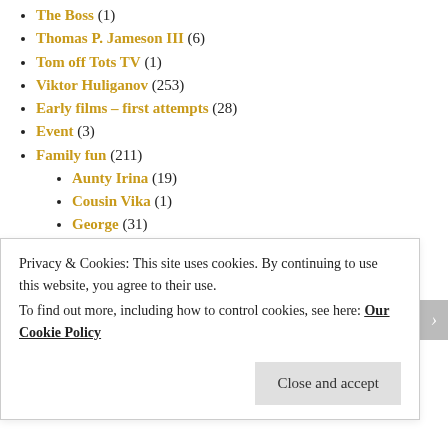The Boss (1)
Thomas P. Jameson III (6)
Tom off Tots TV (1)
Viktor Huliganov (253)
Early films – first attempts (28)
Event (3)
Family fun (211)
Aunty Irina (19)
Cousin Vika (1)
George (31)
My Wife (73)
Parents (25)
Pushkin (11)
Sara (7)
Sophie (126)
Tanya (43)
Filming While... (178)
Privacy & Cookies: This site uses cookies. By continuing to use this website, you agree to their use. To find out more, including how to control cookies, see here: Our Cookie Policy